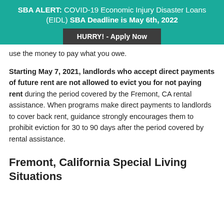SBA ALERT: COVID-19 Economic Injury Disaster Loans (EIDL) SBA Deadline is May 6th, 2022
[Figure (other): Button: HURRY! - Apply Now]
use the money to pay what you owe.
Starting May 7, 2021, landlords who accept direct payments of future rent are not allowed to evict you for not paying rent during the period covered by the Fremont, CA rental assistance. When programs make direct payments to landlords to cover back rent, guidance strongly encourages them to prohibit eviction for 30 to 90 days after the period covered by rental assistance.
Fremont, California Special Living Situations